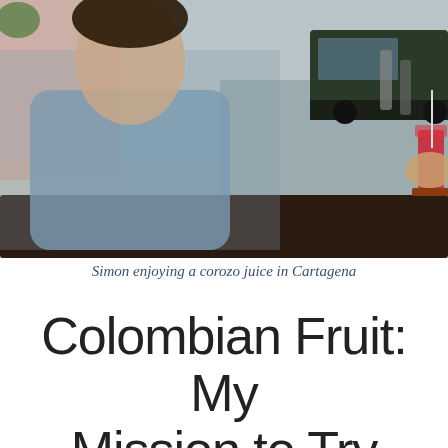[Figure (photo): A man (Simon) sitting at an outdoor table holding a red corozo juice drink with a straw, with a street, parked truck, and sidewalk visible in the background.]
Simon enjoying a corozo juice in Cartagena
Colombian Fruit: My Mission to Try Them All